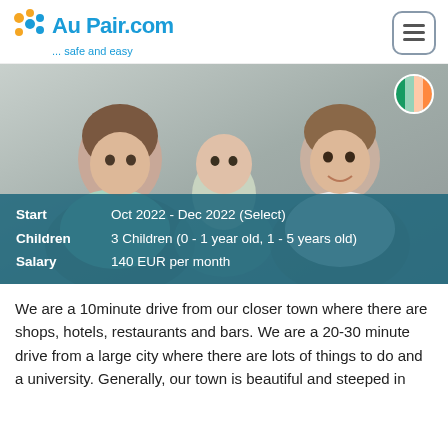AuPair.com ... safe and easy
[Figure (photo): Photo of three young children lying/sitting together on a grey fluffy background. A girl on the left in a mint green dress, a baby in the middle in a green checked outfit, and a toddler boy on the right in a white t-shirt. An Irish flag badge is visible in the top right corner of the photo.]
| Field | Value |
| --- | --- |
| Start | Oct 2022 - Dec 2022 (Select) |
| Children | 3 Children (0 - 1 year old, 1 - 5 years old) |
| Salary | 140 EUR per month |
We are a 10minute drive from our closer town where there are shops, hotels, restaurants and bars. We are a 20-30 minute drive from a large city where there are lots of things to do and a university. Generally, our town is beautiful and steeped in